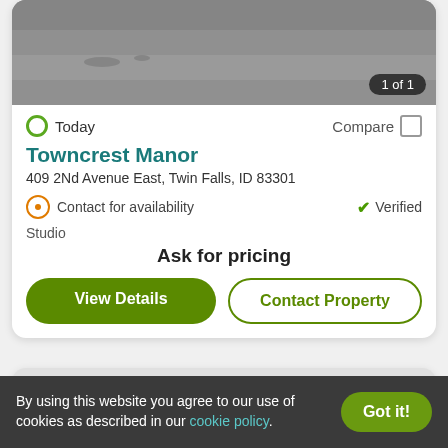[Figure (photo): Top portion of property photo showing grey surface, with '1 of 1' badge in bottom right corner]
Today
Compare
Towncrest Manor
409 2Nd Avenue East, Twin Falls, ID 83301
Contact for availability
Verified
Studio
Ask for pricing
View Details
Contact Property
[Figure (illustration): Partial view of second property card showing a mountain/house line-art logo on grey background with heart/favorite button]
By using this website you agree to our use of cookies as described in our cookie policy.
Got it!